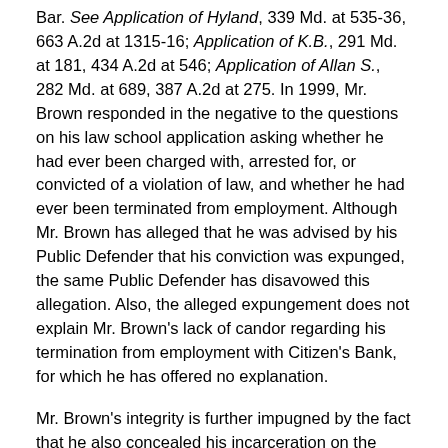Bar. See Application of Hyland, 339 Md. at 535-36, 663 A.2d at 1315-16; Application of K.B., 291 Md. at 181, 434 A.2d at 546; Application of Allan S., 282 Md. at 689, 387 A.2d at 275. In 1999, Mr. Brown responded in the negative to the questions on his law school application asking whether he had ever been charged with, arrested for, or convicted of a violation of law, and whether he had ever been terminated from employment. Although Mr. Brown has alleged that he was advised by his Public Defender that his conviction was expunged, the same Public Defender has disavowed this allegation. Also, the alleged expungement does not explain Mr. Brown's lack of candor regarding his termination from employment with Citizen's Bank, for which he has offered no explanation.
Mr. Brown's integrity is further impugned by the fact that he also concealed his incarceration on the resume that he attached to his law school application by affirmatively stating that he was employed during the same period. Although during oral argument before this Court, Mr. Brown's attorney represented that Mr. Brown did not intentionally misrepresent his dates of employment to conceal his incarceration because "in updating the resumes, the dates got confused" and a "clerical error" occurred, it is difficult, if not impossible, to believe that anyone could forget that he spent ten months in